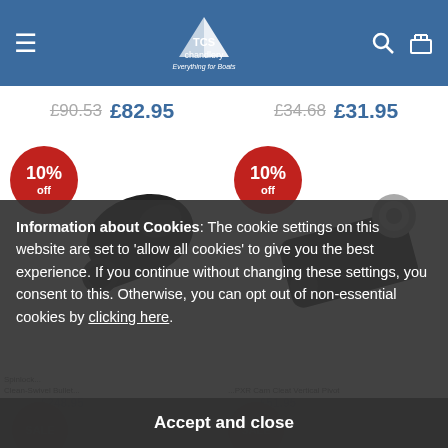TCS Chandlery - Everything for Boats
£90.53 £82.95 | £34.68 £31.95
[Figure (photo): Two boat hardware products with 10% off badges]
Spinlock... Clean-Swivel... £248.95 | ...PXR Cam Cleat Vertical Pivot £51.95
Information about Cookies: The cookie settings on this website are set to 'allow all cookies' to give you the best experience. If you continue without changing these settings, you consent to this. Otherwise, you can opt out of non-essential cookies by clicking here.
Accept and close